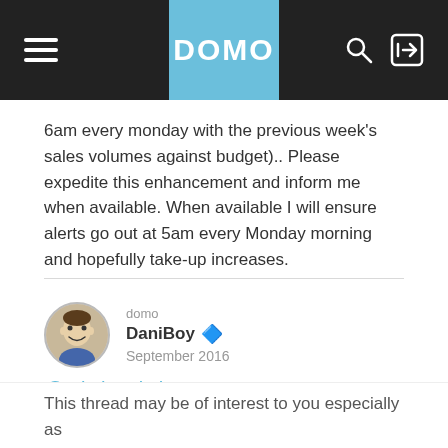DOMO
6am every monday with the previous week's sales volumes against budget).. Please expedite this enhancement and inform me when available. When available I will ensure alerts go out at 5am every Monday morning and hopefully take-up increases.
domo
DaniBoy
September 2016
@MitchyMitch8
This thread may be of interest to you especially as